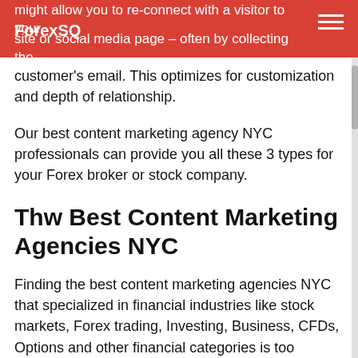ForexSQ | might allow you to re-connect with a visitor to your site or social media page – often by collecting the
customer's email. This optimizes for customization and depth of relationship.
Our best content marketing agency NYC professionals can provide you all these 3 types for your Forex broker or stock company.
Thw Best Content Marketing Agencies NYC
Finding the best content marketing agencies NYC that specialized in financial industries like stock markets, Forex trading, Investing, Business, CFDs, Options and other financial categories is too important. Its because if you don't invest with the best